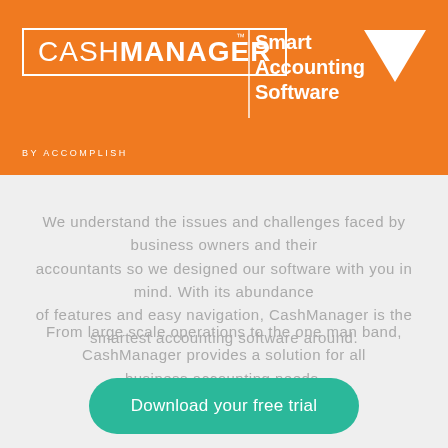[Figure (logo): CashManager logo with orange header background, white bordered box with CASH in light weight and MANAGER in bold, TM superscript, Smart Accounting Software tagline, BY ACCOMPLISH subtitle, and white downward triangle]
We understand the issues and challenges faced by business owners and their accountants so we designed our software with you in mind. With its abundance of features and easy navigation, CashManager is the smartest accounting software around.
From large scale operations to the one man band, CashManager provides a solution for all business accounting needs.
Download your free trial